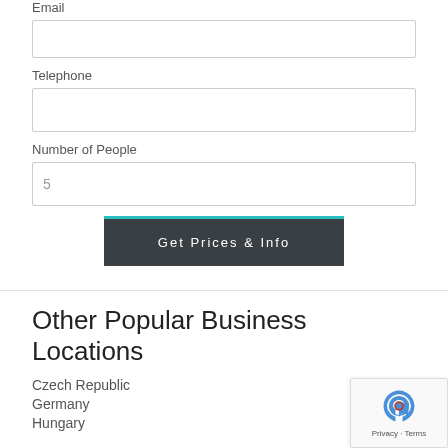Email
Telephone
Number of People
5
Get Prices & Info
Other Popular Business Locations
Czech Republic
Germany
Hungary